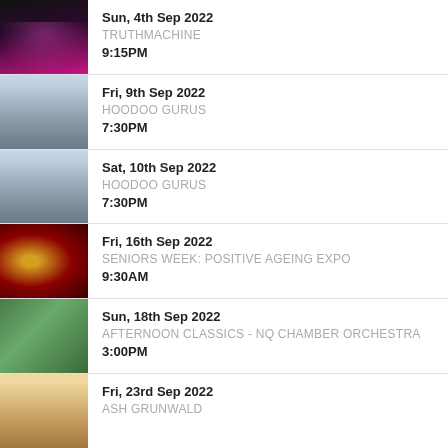[Figure (photo): Person with headphones under pink/magenta lighting]
Sun, 4th Sep 2022
TRUTHMACHINE
9:15PM
[Figure (photo): Band of four people in sunglasses outdoors]
Fri, 9th Sep 2022
HOODOO GURUS
7:30PM
[Figure (photo): Band of four people in sunglasses outdoors]
Sat, 10th Sep 2022
HOODOO GURUS
7:30PM
[Figure (photo): Microphone on red stage background with performer]
Fri, 16th Sep 2022
SENIORS WEEK: POSITIVE AGEING EXPO
9:30AM
[Figure (photo): Man in suit in garden setting]
Sun, 18th Sep 2022
AFTERNOON CLASSICS - NQ CHAMBER ORCHESTRA
3:00PM
[Figure (photo): Partial image at bottom - warm tones]
Fri, 23rd Sep 2022
ASH GRUNWALD